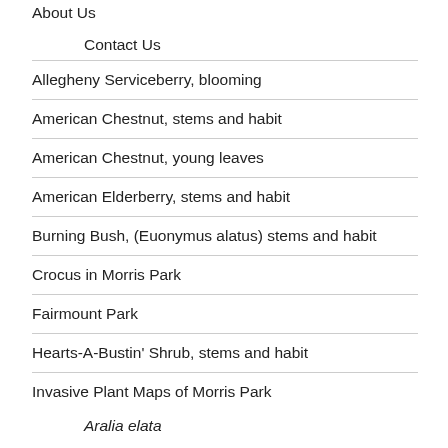About Us
Contact Us
Allegheny Serviceberry, blooming
American Chestnut, stems and habit
American Chestnut, young leaves
American Elderberry, stems and habit
Burning Bush, (Euonymus alatus) stems and habit
Crocus in Morris Park
Fairmount Park
Hearts-A-Bustin' Shrub, stems and habit
Invasive Plant Maps of Morris Park
Aralia elata